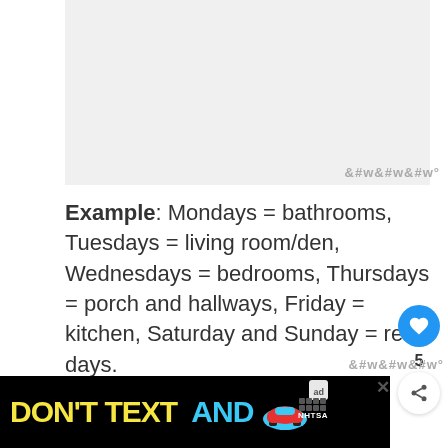[Figure (other): Gray placeholder image area at top of page]
Example: Mondays = bathrooms, Tuesdays = living room/den, Wednesdays = bedrooms, Thursdays = porch and hallways, Friday = kitchen, Saturday and Sunday = rest days.
2. LAUNDRY
[Figure (infographic): Advertisement banner: DON'T TEXT AND (car emoji) with ad choice logo and NHTSA branding. Close button visible.]